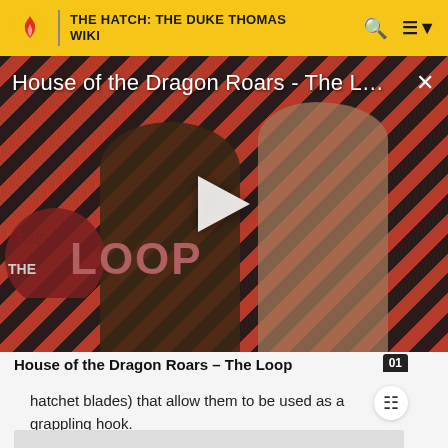THE HATCH: THE DUKE THOMAS WIKI
[Figure (screenshot): Video thumbnail for 'House of the Dragon Roars - The L...' showing two characters against a diagonal red and dark stripe background with THE LOOP logo overlay and a play button in the center. A close (X) button is in the top right.]
House of the Dragon Roars - The Loop
hatchet blades) that allow them to be used as a grappling hook.